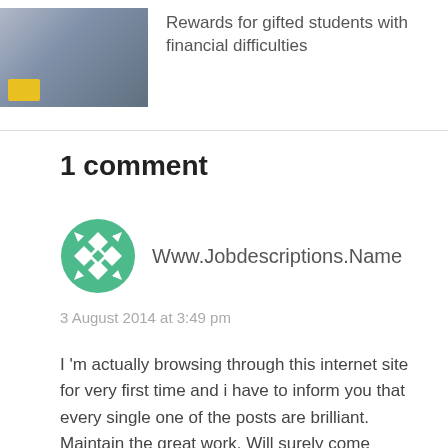[Figure (photo): Thumbnail photo of students in uniforms]
Rewards for gifted students with financial difficulties
1 comment
[Figure (illustration): Green geometric/quilt pattern avatar icon for commenter Www.Jobdescriptions.Name]
Www.Jobdescriptions.Name
3 August 2014 at 3:49 pm
I 'm actually browsing through this internet site for very first time and i have to inform you that every single one of the posts are brilliant. Maintain the great work. Will surely come again.